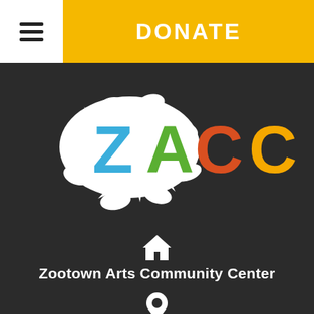☰  DONATE
[Figure (logo): ZACC logo — white paint splat background with colorful letters Z (blue), A (green), C (orange-red), C (yellow/orange) on dark background]
[Figure (illustration): White house icon]
Zootown Arts Community Center
[Figure (illustration): White map pin / location icon]